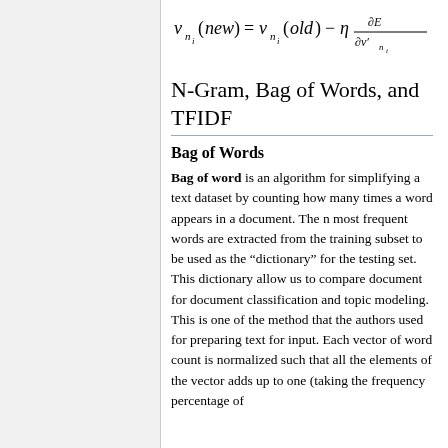N-Gram, Bag of Words, and TFIDF
Bag of Words
Bag of word is an algorithm for simplifying a text dataset by counting how many times a word appears in a document. The n most frequent words are extracted from the training subset to be used as the “dictionary” for the testing set. This dictionary allow us to compare document for document classification and topic modeling. This is one of the method that the authors used for preparing text for input. Each vector of word count is normalized such that all the elements of the vector adds up to one (taking the frequency percentage of